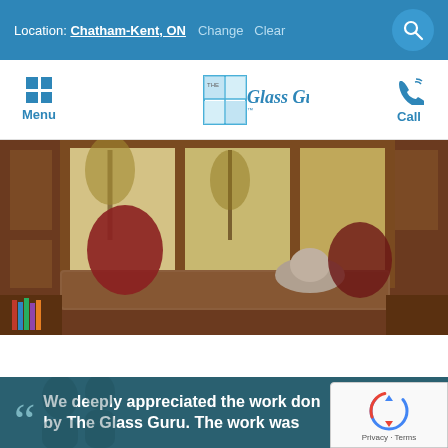Location: Chatham-Kent, ON  Change  Clear
[Figure (logo): The Glass Guru logo with grid menu icon and phone/call icon in navigation bar]
[Figure (photo): Interior photo of a cozy window seat with brown cushion, red pillows, bookshelves, and a cat lying on the seat, with wood-framed windows showing autumn trees outside]
We deeply appreciated the work done by The Glass Guru. The work was
[Figure (other): reCAPTCHA widget with Privacy and Terms links]